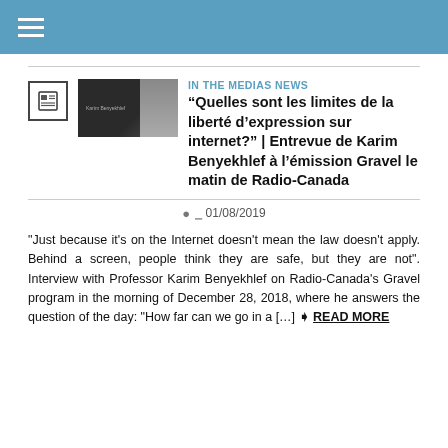☰
IN THE MEDIAS NEWS
“Quelles sont les limites de la liberté d’expression sur internet?” | Entrevue de Karim Benyekhlef à l’émission Gravel le matin de Radio-Canada
01/08/2019
"Just because it's on the Internet doesn't mean the law doesn't apply. Behind a screen, people think they are safe, but they are not". Interview with Professor Karim Benyekhlef on Radio-Canada's Gravel program in the morning of December 28, 2018, where he answers the question of the day: "How far can we go in a [...] ❯ READ MORE